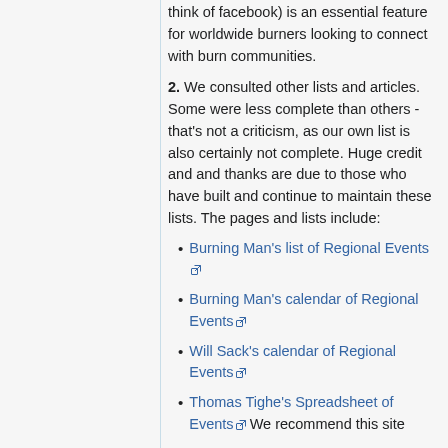think of facebook) is an essential feature for worldwide burners looking to connect with burn communities.
2. We consulted other lists and articles. Some were less complete than others - that's not a criticism, as our own list is also certainly not complete. Huge credit and and thanks are due to those who have built and continue to maintain these lists. The pages and lists include:
Burning Man's list of Regional Events [external link]
Burning Man's calendar of Regional Events [external link]
Will Sack's calendar of Regional Events [external link]
Thomas Tighe's Spreadsheet of Events [external link] We recommend this site